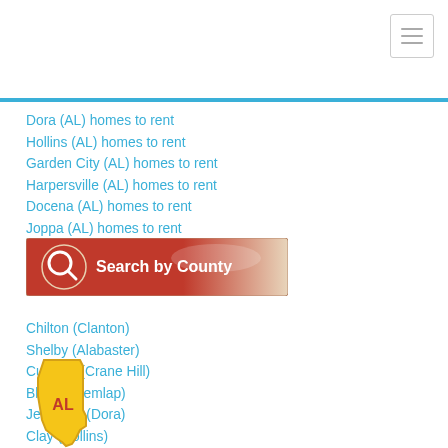[Figure (other): Hamburger menu icon in top-right corner inside a bordered box]
Dora (AL) homes to rent
Hollins (AL) homes to rent
Garden City (AL) homes to rent
Harpersville (AL) homes to rent
Docena (AL) homes to rent
Joppa (AL) homes to rent
[Figure (other): Orange/red Search by County banner button with magnifying glass icon on the left]
Chilton (Clanton)
Shelby (Alabaster)
Cullman (Crane Hill)
Blount (Remlap)
Jefferson (Dora)
Clay (Hollins)
[Figure (other): Yellow Alabama state outline icon with 'AL' text in orange inside]